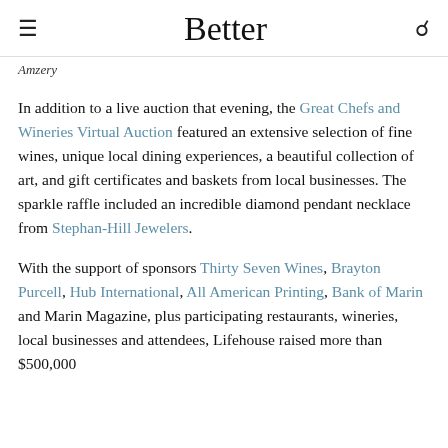Better
Amzery
In addition to a live auction that evening, the Great Chefs and Wineries Virtual Auction featured an extensive selection of fine wines, unique local dining experiences, a beautiful collection of art, and gift certificates and baskets from local businesses. The sparkle raffle included an incredible diamond pendant necklace from Stephan-Hill Jewelers.
With the support of sponsors Thirty Seven Wines, Brayton Purcell, Hub International, All American Printing, Bank of Marin and Marin Magazine, plus participating restaurants, wineries, local businesses and attendees, Lifehouse raised more than $500,000